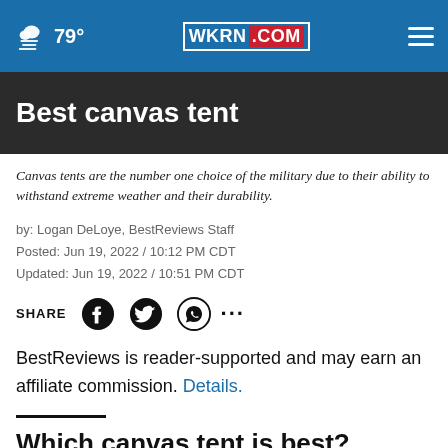79° WKRN.COM
Best canvas tent
Canvas tents are the number one choice of the military due to their ability to withstand extreme weather and their durability.
by: Logan DeLoye, BestReviews Staff
Posted: Jun 19, 2022 / 10:12 PM CDT
Updated: Jun 19, 2022 / 10:51 PM CDT
SHARE [Facebook] [Twitter] [WhatsApp] [...]
BestReviews is reader-supported and may earn an affiliate commission. Details.
Which canvas tent is best?